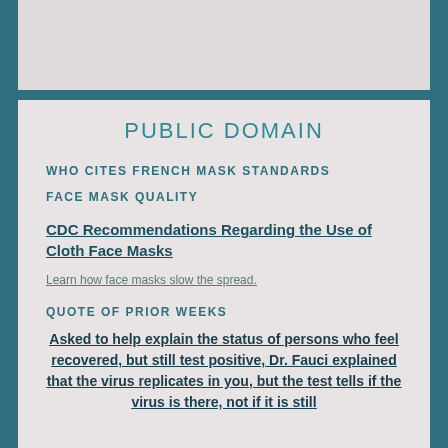PUBLIC DOMAIN
WHO CITES FRENCH MASK STANDARDS
FACE MASK QUALITY
CDC Recommendations Regarding the Use of Cloth Face Masks
Learn how face masks slow the spread.
QUOTE OF PRIOR WEEKS
Asked to help explain the status of persons who feel recovered, but still test positive, Dr. Fauci explained that the virus replicates in you, but the test tells if the virus is there, not if it is still